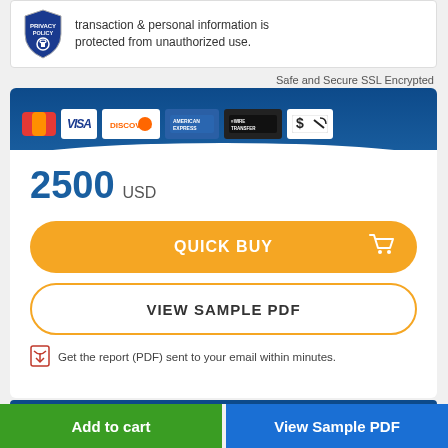transaction & personal information is protected from unauthorized use.
Safe and Secure SSL Encrypted
[Figure (other): Payment method logos: Mastercard, VISA, Discover, American Express, Wire Transfer, Check/eCheck on a dark blue banner]
2500 USD
QUICK BUY
VIEW SAMPLE PDF
Get the report (PDF) sent to your email within minutes.
Add to cart
View Sample PDF